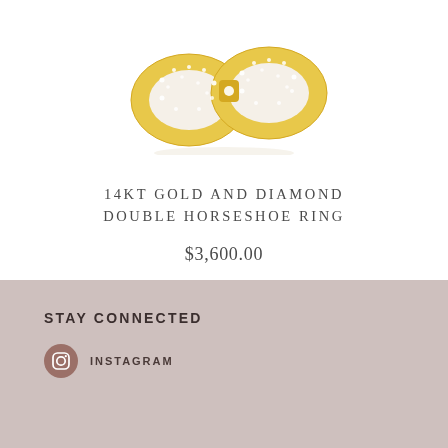[Figure (photo): Close-up photo of a 14kt gold and diamond double horseshoe ring with pavé diamond accents on a white background, partially cropped at the top.]
14KT GOLD AND DIAMOND DOUBLE HORSESHOE RING
$3,600.00
SHOP
STAY CONNECTED
INSTAGRAM